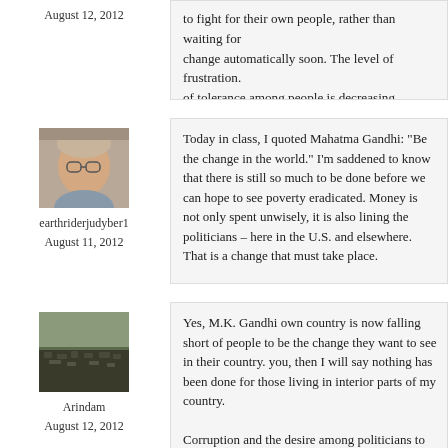August 12, 2012
to fight for their own people, rather than waiting for change automatically soon. The level of frustration. of tolerance among people is decreasing everyday. sharing your wonderful thought here.
[Figure (photo): Profile photo of earthriderjudyberi, a woman with glasses]
earthriderjudyber1
August 11, 2012
Today in class, I quoted Mahatma Gandhi: "Be the change in the world." I'm saddened to know that there is still so much to be done before we can hope to see poverty eradicated. Money is not only spent unwisely, it is also lining the pockets of politicians – here in the U.S. and elsewhere. That is a change that must take place.
[Figure (photo): Profile photo of Arindam, a landscape/outdoor scene]
Arindam
August 12, 2012
Yes, M.K. Gandhi own country is now falling short of people to be the change they want to see in their country. I agree with you, then I will say nothing has been done for those living in interior parts of my country.
Corruption and the desire among politicians to work – these are two things which can change something